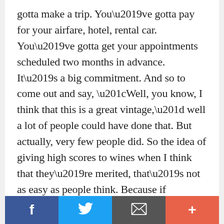gotta make a trip. You’ve gotta pay for your airfare, hotel, rental car. You’ve gotta get your appointments scheduled two months in advance. It’s a big commitment. And so to come out and say, “Well, you know, I think that this is a great vintage,” well a lot of people could have done that. But actually, very few people did. So the idea of giving high scores to wines when I think that they’re merited, that’s not as easy as people think. Because if you’re wrong, you’re gonna pay the price.
0:26:53 LD: Have there been times where
Facebook | Twitter | Email | More